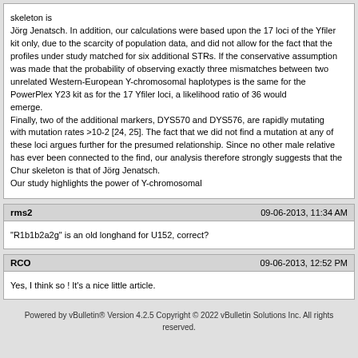skeleton is Jörg Jenatsch. In addition, our calculations were based upon the 17 loci of the Yfiler kit only, due to the scarcity of population data, and did not allow for the fact that the profiles under study matched for six additional STRs. If the conservative assumption was made that the probability of observing exactly three mismatches between two unrelated Western-European Y-chromosomal haplotypes is the same for the PowerPlex Y23 kit as for the 17 Yfiler loci, a likelihood ratio of 36 would emerge. Finally, two of the additional markers, DYS570 and DYS576, are rapidly mutating with mutation rates >10-2 [24, 25]. The fact that we did not find a mutation at any of these loci argues further for the presumed relationship. Since no other male relative has ever been connected to the find, our analysis therefore strongly suggests that the Chur skeleton is that of Jörg Jenatsch. Our study highlights the power of Y-chromosomal
rms2 — 09-06-2013, 11:34 AM
"R1b1b2a2g" is an old longhand for U152, correct?
RCO — 09-06-2013, 12:52 PM
Yes, I think so ! It's a nice little article.
Powered by vBulletin® Version 4.2.5 Copyright © 2022 vBulletin Solutions Inc. All rights reserved.